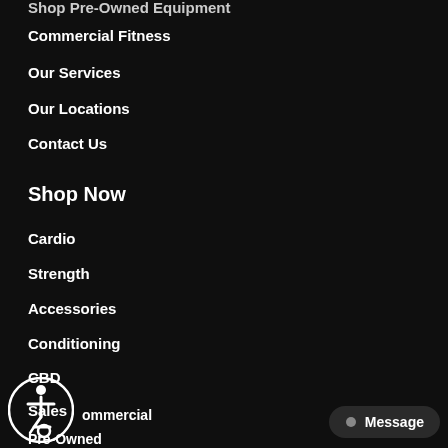Shop Pre-Owned Equipment
Commercial Fitness
Our Services
Our Locations
Contact Us
Shop Now
Cardio
Strength
Accessories
Conditioning
CBD
Sales
Pre-Owned
Commercial
CBD
[Figure (illustration): Accessibility icon — circular button with person in wheelchair symbol]
Message